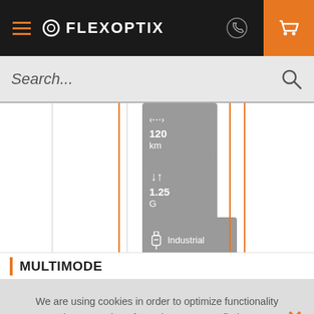FLEXOPTIX
Search...
[Figure (infographic): Filter selection interface showing filter badges: distance 120 km, data rate 1.25G, and temperature range Industrial, with vertical orange and gray column separator lines]
MULTIMODE
We are using cookies in order to optimize functionality and presentation of our shop. You can find more information in our privacy policy.